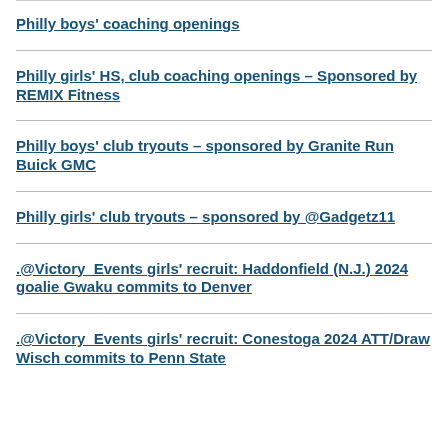Philly boys' coaching openings
Philly girls' HS, club coaching openings – Sponsored by REMIX Fitness
Philly boys' club tryouts – sponsored by Granite Run Buick GMC
Philly girls' club tryouts – sponsored by @Gadgetz11
.@Victory_Events girls' recruit: Haddonfield (N.J.) 2024 goalie Gwaku commits to Denver
.@Victory_Events girls' recruit: Conestoga 2024 ATT/Draw Wisch commits to Penn State